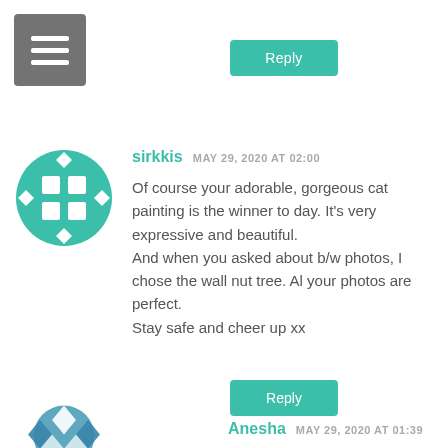[Figure (illustration): Grey hamburger menu button icon with three white horizontal lines on a grey rounded square background]
Reply
[Figure (illustration): Teal circular avatar icon with a grid/filmstrip pattern made of diamonds and squares]
sirkkis MAY 29, 2020 AT 02:00
Of course your adorable, gorgeous cat painting is the winner to day. It's very expressive and beautiful. And when you asked about b/w photos, I chose the wall nut tree. Al your photos are perfect. Stay safe and cheer up xx
Reply
[Figure (illustration): Blue/teal circular avatar icon with geometric pattern]
Anesha MAY 29, 2020 AT 01:39